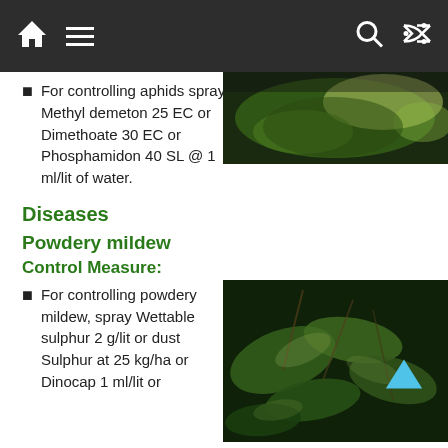Navigation bar with home, menu, search, and shuffle icons
[Figure (photo): Close-up photo of plant leaves, partially visible at top right]
For controlling aphids spray Methyl demeton 25 EC or Dimethoate 30 EC or Phosphamidon 40 SL @ 1 ml/lit of water.
Diseases
Powdery mildew
Control Measure:
[Figure (photo): Close-up photo of plant leaves affected by powdery mildew, showing grayish-white coating on dark green leaves]
For controlling powdery mildew, spray Wettable sulphur 2 g/lit or dust Sulphur at 25 kg/ha or Dinocap 1 ml/lit or